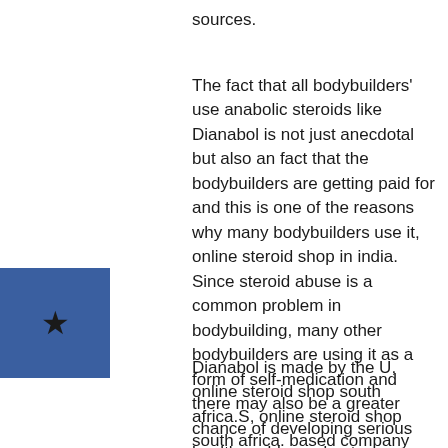sources.
The fact that all bodybuilders' use anabolic steroids like Dianabol is not just anecdotal but also an fact that the bodybuilders are getting paid for and this is one of the reasons why many bodybuilders use it, online steroid shop in india. Since steroid abuse is a common problem in bodybuilding, many other bodybuilders are using it as a form of self-medication and there may also be a greater chance of developing serious health problems due to excessive use of anabolic steroids.
Dianabol is made by the U, online steroid shop south africa.S, online steroid shop south africa. based company Stanozolol, part of the generic pharmaceutical industry, online steroid shop south africa. The most